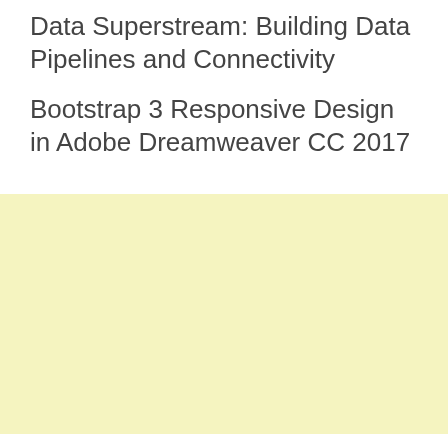Data Superstream: Building Data Pipelines and Connectivity
Bootstrap 3 Responsive Design in Adobe Dreamweaver CC 2017